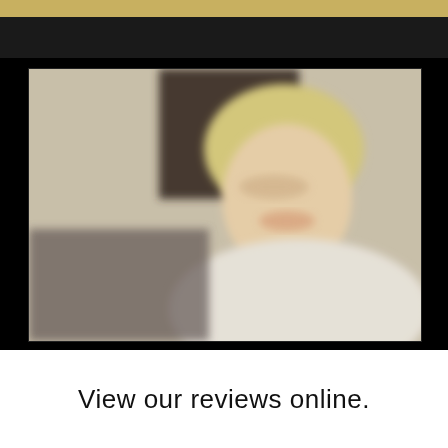[Figure (photo): Two photos of a person with short blonde hair, smiling, wearing a white shirt, seated indoors with a dark chair visible in the background. The photos appear blurred. Set against a black background with a tan/gold strip visible at the very top.]
View our reviews online.